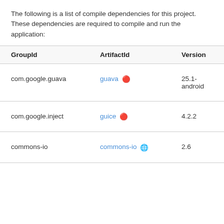The following is a list of compile dependencies for this project. These dependencies are required to compile and run the application:
| GroupId | ArtifactId | Version |
| --- | --- | --- |
| com.google.guava | guava 🔴 | 25.1-android |
| com.google.inject | guice 🔴 | 4.2.2 |
| commons-io | commons-io 🌐 | 2.6 |